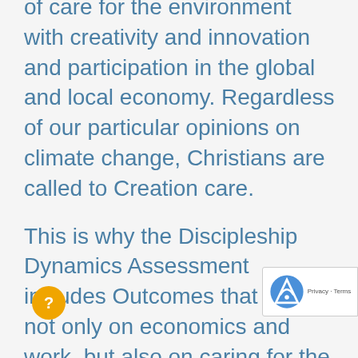of care for the environment with creativity and innovation and participation in the global and local economy. Regardless of our particular opinions on climate change, Christians are called to Creation care.
This is why the Discipleship Dynamics Assessment includes Outcomes that focus not only on economics and work, but also on caring for the environment. Without any ideological or political partisanship, we believe that disciples of Jesus Christ should be the best stewards of God's gifts and diligently labor for the common good.